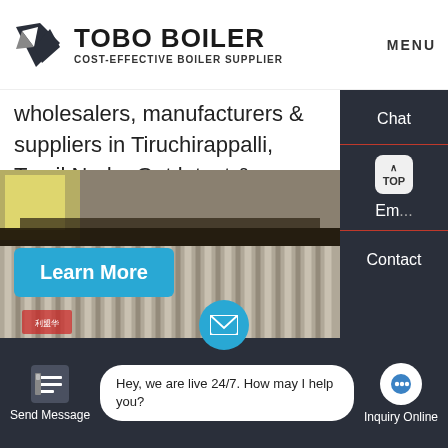[Figure (logo): TOBO BOILER logo with geometric icon, subtitle COST-EFFECTIVE BOILER SUPPLIER, and MENU text on right]
wholesalers, manufacturers & suppliers in Tiruchirappalli, Tamil Nadu. Get latest & updated boiler chimneys prices in Tiruchirappalli for your buying requirement.
Learn More
Chat
Em...
Contact
[Figure (photo): Industrial boiler facility showing large corrugated metal panels and overhead equipment]
Send Message
Hey, we are live 24/7. How may I help you?
Inquiry Online